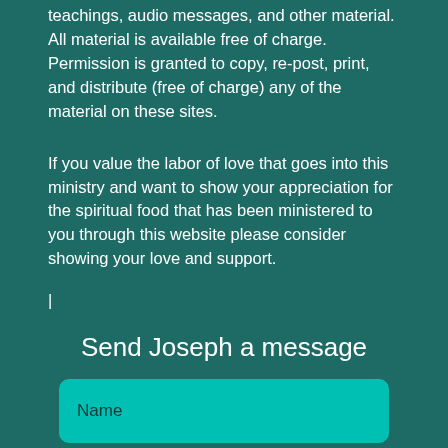teachings, audio messages, and other material. All material is available free of charge. Permission is granted to copy, re-post, print, and distribute (free of charge) any of the material on these sites.
If you value the labor of love that goes into this ministry and want to show your appreciation for the spiritual food that has been ministered to you through this website please consider showing your love and support.
|
Send Joseph a message
[Figure (screenshot): Input field with placeholder text 'Name' on teal background with rounded corners]
[Figure (screenshot): Second input field (partially visible) on teal background with rounded corners]